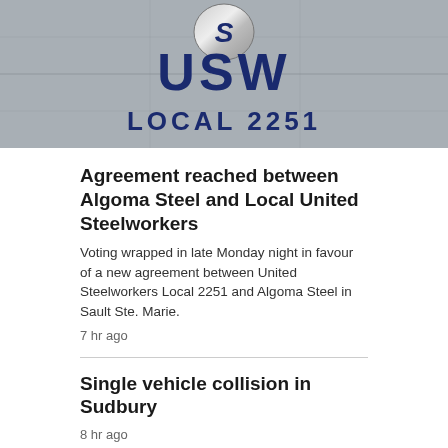[Figure (photo): Photograph of a stone wall with USW (United Steelworkers) logo and text 'LOCAL 2251' in large dark blue letters]
Agreement reached between Algoma Steel and Local United Steelworkers
Voting wrapped in late Monday night in favour of a new agreement between United Steelworkers Local 2251 and Algoma Steel in Sault Ste. Marie.
7 hr ago
Single vehicle collision in Sudbury
8 hr ago
Sudbury teacher faces disciplinary hearing related to sex abuse allegations